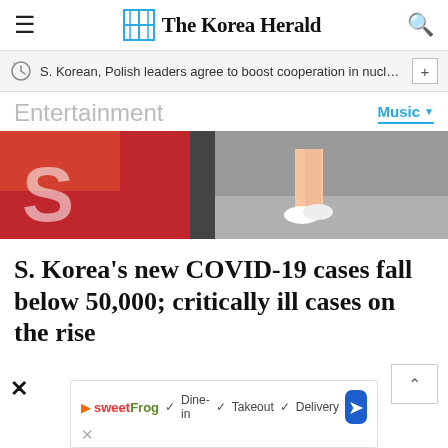The Korea Herald
S. Korean, Polish leaders agree to boost cooperation in nuclear p…
Entertainment
Music
[Figure (photo): Partial photo showing a person's legs walking, with a red background on the left side showing partial letters.]
S. Korea's new COVID-19 cases fall below 50,000; critically ill cases on the rise
[Figure (screenshot): Advertisement banner for sweetFrog restaurant showing: Dine-in, Takeout, Delivery options with a navigation icon.]